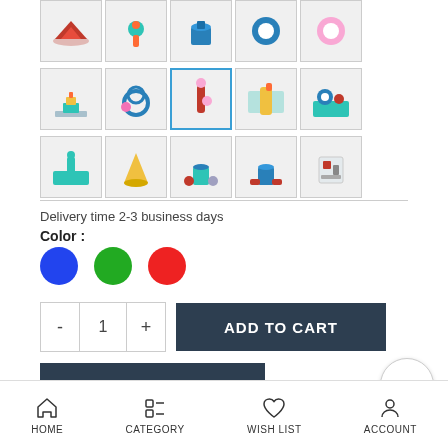[Figure (screenshot): Product image thumbnail grid showing 15 toy product images in 3 rows of 5, with the third image in the second row selected (highlighted with blue border)]
Delivery time 2-3 business days
Color :
[Figure (infographic): Three color selector circles: blue, green, red]
[Figure (infographic): Quantity selector showing minus button, 1, plus button, and ADD TO CART button]
[Figure (infographic): BUY IT NOW button]
HOME  CATEGORY  WISH LIST  ACCOUNT